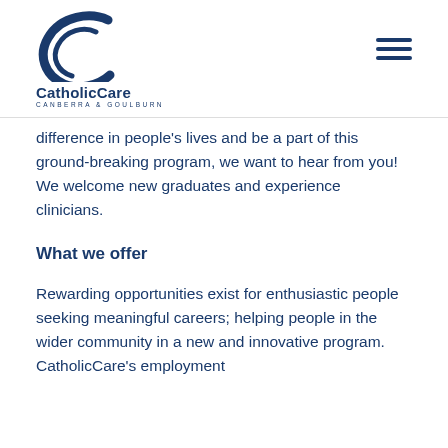CatholicCare CANBERRA & GOULBURN
difference in people's lives and be a part of this ground-breaking program, we want to hear from you! We welcome new graduates and experience clinicians.
What we offer
Rewarding opportunities exist for enthusiastic people seeking meaningful careers; helping people in the wider community in a new and innovative program. CatholicCare's employment